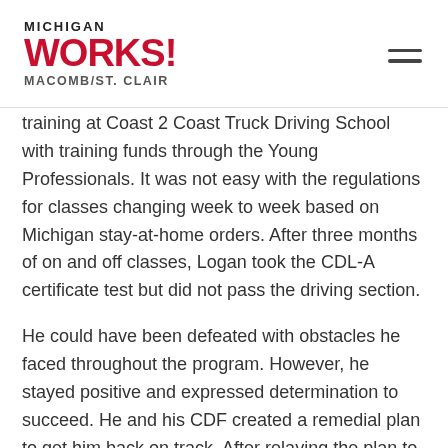Michigan Works! Macomb/St. Clair
training at Coast 2 Coast Truck Driving School with training funds through the Young Professionals. It was not easy with the regulations for classes changing week to week based on Michigan stay-at-home orders. After three months of on and off classes, Logan took the CDL-A certificate test but did not pass the driving section.
He could have been defeated with obstacles he faced throughout the program. However, he stayed positive and expressed determination to succeed. He and his CDF created a remedial plan to get him back on track. After relaying the plan to the school,